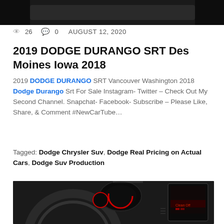[Figure (photo): Top portion of a car interior or exterior photo, dark background]
👁 26  💬 0  AUGUST 12, 2020
2019 DODGE DURANGO SRT Des Moines Iowa 2018
2019 DODGE DURANGO SRT Vancouver Washington 2018 Dodge Durango Srt For Sale Instagram- Twitter – Check Out My Second Channel. Snapchat- Facebook- Subscribe – Please Like, Share, & Comment #NewCarTube…
Tagged: Dodge Chrysler Suv, Dodge Real Pricing on Actual Cars, Dodge Suv Production
[Figure (photo): Car interior showing the dashboard with steering wheel, instrument cluster with red gauges, and infotainment screen]